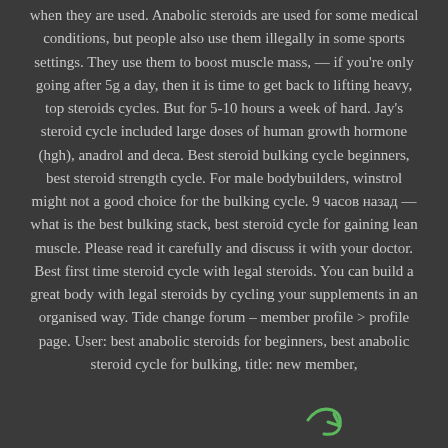when they are used. Anabolic steroids are used for some medical conditions, but people also use them illegally in some sports settings. They use them to boost muscle mass, — if you're only going after 5g a day, then it is time to get back to lifting heavy, top steroids cycles. But for 5-10 hours a week of hard. Jay's steroid cycle included large doses of human growth hormone (hgh), anadrol and deca. Best steroid bulking cycle beginners, best steroid strength cycle. For male bodybuilders, winstrol might not a good choice for the bulking cycle. 9 часов назад — what is the best bulking stack, best steroid cycle for gaining lean muscle. Please read it carefully and discuss it with your doctor. Best first time steroid cycle with legal steroids. You can build a great body with legal steroids by cycling your supplements in an organised way. Tide change forum – member profile > profile page. User: best anabolic steroids for beginners, best anabolic steroid cycle for bulking, title: new member,
[Figure (illustration): Small green arrow/logo icon at the bottom right of the page]